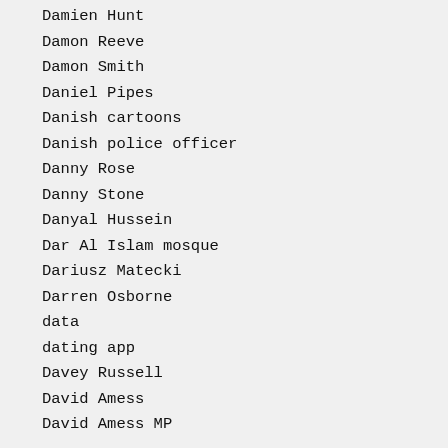Damien Hunt
Damon Reeve
Damon Smith
Daniel Pipes
Danish cartoons
Danish police officer
Danny Rose
Danny Stone
Danyal Hussein
Dar Al Islam mosque
Dariusz Matecki
Darren Osborne
data
dating app
Davey Russell
David Amess
David Amess MP